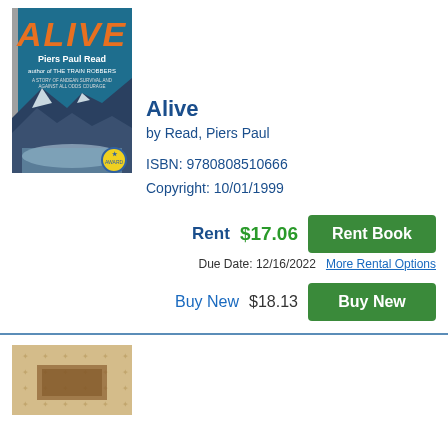[Figure (illustration): Book cover of 'Alive' by Piers Paul Read, showing orange italic title text, author name, subtitle 'author of THE TRAIN ROBBERS', mountain snowy landscape, and a circular badge at bottom right]
Alive
by Read, Piers Paul
ISBN: 9780808510666
Copyright: 10/01/1999
Rent   $17.06   Rent Book
Due Date: 12/16/2022   More Rental Options
Buy New   $18.13   Buy New
[Figure (illustration): Partial view of a second book cover with decorative pattern background in tan/beige tones]